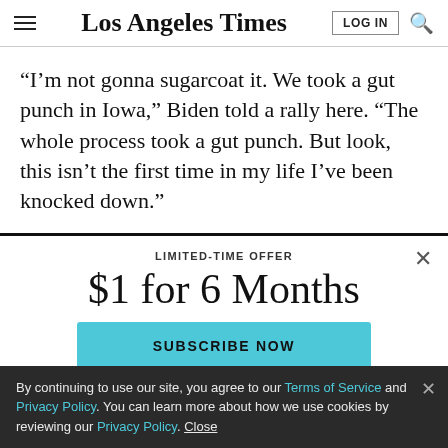Los Angeles Times
“I’m not gonna sugarcoat it. We took a gut punch in Iowa,” Biden told a rally here. “The whole process took a gut punch. But look, this isn’t the first time in my life I’ve been knocked down.”
LIMITED-TIME OFFER
$1 for 6 Months
SUBSCRIBE NOW
By continuing to use our site, you agree to our Terms of Service and Privacy Policy. You can learn more about how we use cookies by reviewing our Privacy Policy. Close